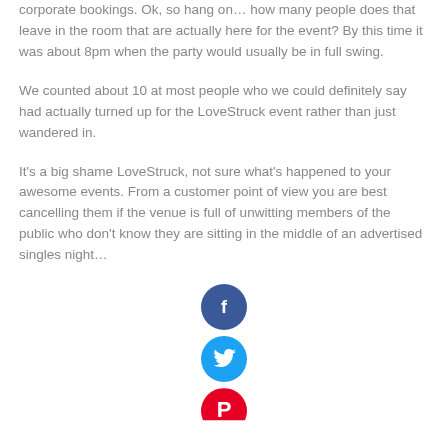corporate bookings. Ok, so hang on… how many people does that leave in the room that are actually here for the event? By this time it was about 8pm when the party would usually be in full swing.
We counted about 10 at most people who we could definitely say had actually turned up for the LoveStruck event rather than just wandered in.
It's a big shame LoveStruck, not sure what's happened to your awesome events. From a customer point of view you are best cancelling them if the venue is full of unwitting members of the public who don't know they are sitting in the middle of an advertised singles night…
[Figure (illustration): Social media share icons: Facebook (blue circle with f), Twitter (light blue circle with bird), Pinterest (red circle, partially visible)]